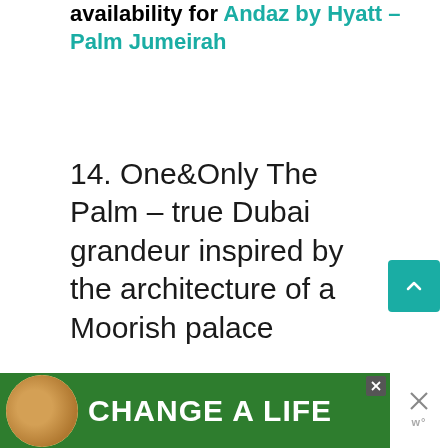availability for Andaz by Hyatt – Palm Jumeirah
14. One&Only The Palm – true Dubai grandeur inspired by the architecture of a Moorish palace
[Figure (other): Teal scroll-to-top arrow button]
[Figure (other): Teal heart/like button with count 60 and share button]
[Figure (other): Advertisement banner: green background with dog image and text 'CHANGE A LIFE']